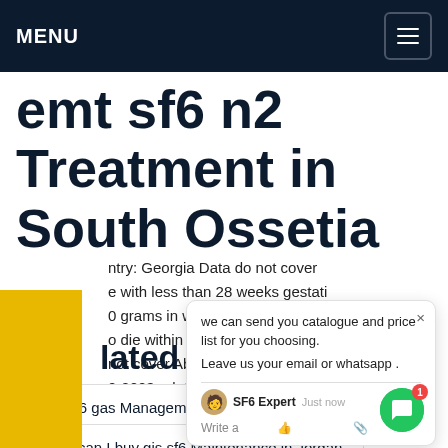MENU
emt sf6 n2 Treatment in South Ossetia
ntry: Georgia Data do not cover
e with less than 28 weeks gestati
0 grams in weight and 35 centim
o die within seven days of birth. F
not cover Abkhazia and Sout (vali).
0-2003 : data refer to age group	rice
lated Post
wika sf6 gas Management in Congo
where can I buy gis sf6 Maintenance in Jordan